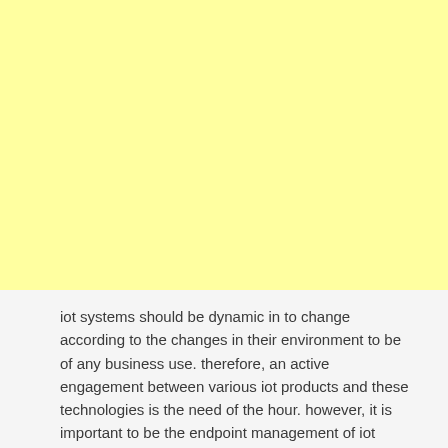[Figure (other): Large yellow/cream colored blank rectangle occupying the upper portion of the page]
iot systems should be dynamic in to change according to the changes in their environment to be of any business use. therefore, an active engagement between various iot products and these technologies is the need of the hour. however, it is important to be the endpoint management of iot systems, otherwise, the whole